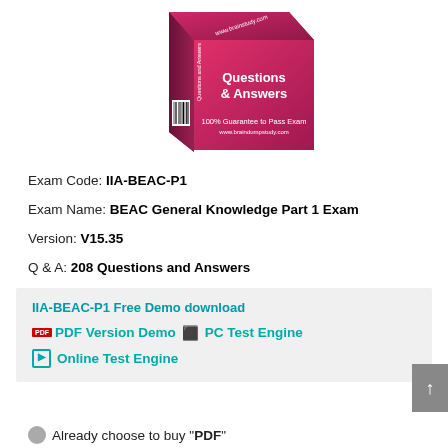[Figure (illustration): A 3D product box with red/pink gradient color showing 'Questions & Answers' text on the front face and '100% Guarantee to Pass Exam' on the side. The box has a barcode on the lower left side. Website URL visible on the spine.]
Exam Code: IIA-BEAC-P1
Exam Name: BEAC General Knowledge Part 1 Exam
Version: V15.35
Q & A: 208 Questions and Answers
IIA-BEAC-P1 Free Demo download
PDF Version Demo   PC Test Engine
Online Test Engine
Already choose to buy "PDF"